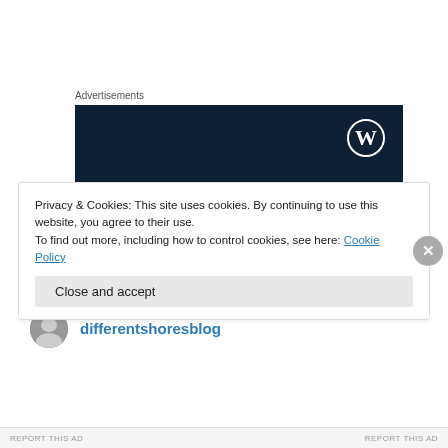Advertisements
[Figure (illustration): WordPress advertisement banner with dark navy background. Shows WordPress logo (W in circle) at top right. Text reads 'Opinions.' in regular weight and 'We all have them!' in bold white serif font.]
differentshoresblog
Privacy & Cookies: This site uses cookies. By continuing to use this website, you agree to their use.
To find out more, including how to control cookies, see here: Cookie Policy
Close and accept